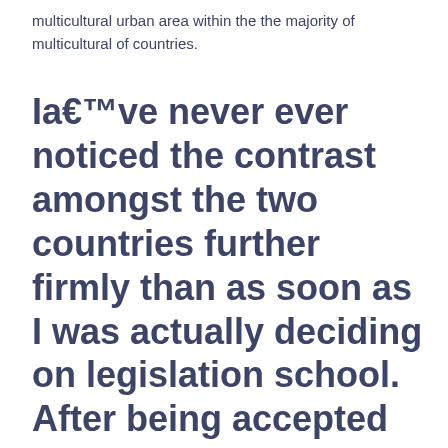multicultural urban area within the the majority of multicultural of countries.
Ia€™ve never ever noticed the contrast amongst the two countries further firmly than as soon as I was actually deciding on legislation school. After being accepted by a number of Canadian and Ivy League regulation classes, I seen